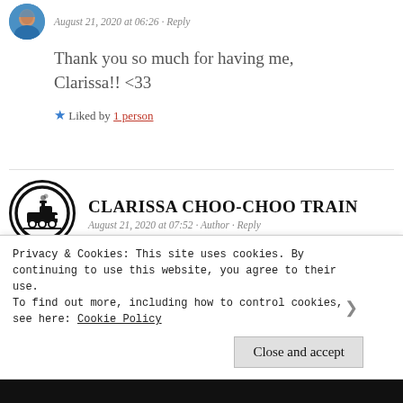[Figure (photo): Circular avatar photo of a person in blue top, partially cropped at top of page]
August 21, 2020 at 06:26 · Reply
Thank you so much for having me, Clarissa!! <33
★ Liked by 1 person
[Figure (logo): Circular logo with train icon (steam locomotive) in black on white background, thick black border]
CLARISSA CHOO-CHOO TRAIN
August 21, 2020 at 07:52 · Author · Reply
=D Thank you for sharing your journey!
Privacy & Cookies: This site uses cookies. By continuing to use this website, you agree to their use.
To find out more, including how to control cookies, see here: Cookie Policy
Close and accept